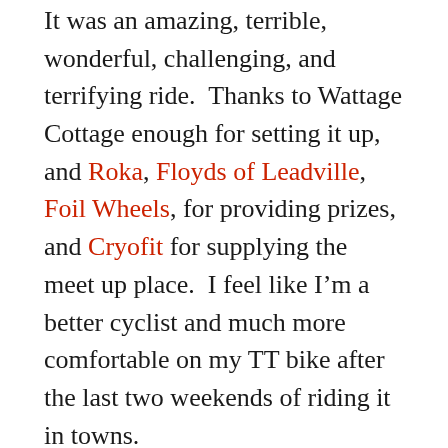It was an amazing, terrible, wonderful, challenging, and terrifying ride. Thanks to Wattage Cottage enough for setting it up, and Roka, Floyds of Leadville, Foil Wheels, for providing prizes, and Cryofit for supplying the meet up place. I feel like I'm a better cyclist and much more comfortable on my TT bike after the last two weekends of riding it in towns.
After the ride, I was smashed. I ate two whole PBJ sandwiches and drank two bottles of water in about 5 minutes. We had planned to change and run 3 miles around the area, but the idea of more hills and no shade in that heat just made both of us feel like crying. However, we are triathletes. We went from bagging the run, then on the drive home, we decided we could do a mile. Last triace..ed the blacks. Then, I called...